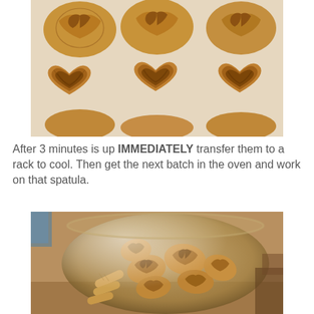[Figure (photo): Overhead view of golden-brown heart-shaped palmier pastries arranged on a light surface, caramelized and flaky.]
After 3 minutes is up IMMEDIATELY transfer them to a rack to cool. Then get the next batch in the oven and work on that spatula.
[Figure (photo): Glass jar filled with baked palmier cookies and some finger-shaped cookies, viewed from above at an angle.]